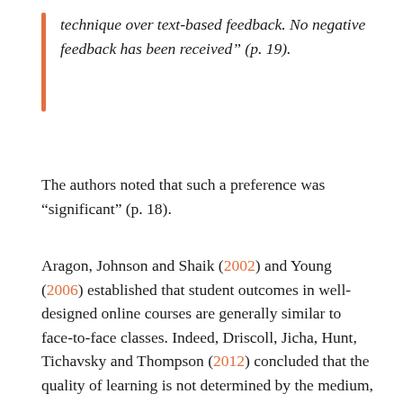technique over text-based feedback. No negative feedback has been received" (p. 19).
The authors noted that such a preference was "significant" (p. 18).
Aragon, Johnson and Shaik (2002) and Young (2006) established that student outcomes in well-designed online courses are generally similar to face-to-face classes. Indeed, Driscoll, Jicha, Hunt, Tichavsky and Thompson (2012) concluded that the quality of learning is not determined by the medium, but the course delivery pedagogy which includes feedback modalities. Instructional feedback can be as brief as a grade, or as extensive as a page of paragraphs.